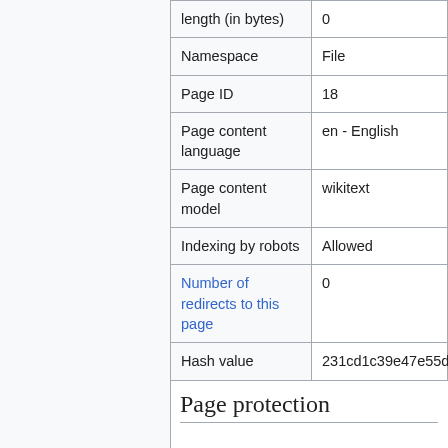| Property | Value |
| --- | --- |
| length (in bytes) | 0 |
| Namespace | File |
| Page ID | 18 |
| Page content language | en - English |
| Page content model | wikitext |
| Indexing by robots | Allowed |
| Number of redirects to this page | 0 |
| Hash value | 231cd1c39e47e55dbf8d4a95 |
Page protection